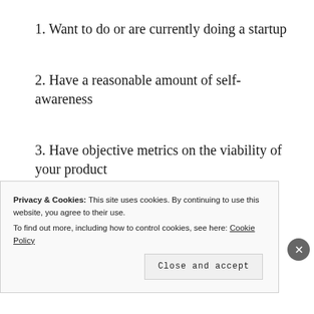1. Want to do or are currently doing a startup
2. Have a reasonable amount of self-awareness
3. Have objective metrics on the viability of your product
Note that this matrix describes your
Privacy & Cookies: This site uses cookies. By continuing to use this website, you agree to their use.
To find out more, including how to control cookies, see here: Cookie Policy
Close and accept